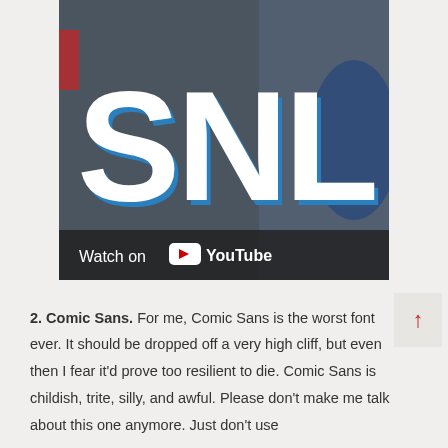[Figure (screenshot): YouTube video thumbnail showing 'SNL' logo in large white letters with blue outline on a dark background, with a 'Watch on YouTube' overlay bar at the bottom.]
2. Comic Sans. For me, Comic Sans is the worst font ever. It should be dropped off a very high cliff, but even then I fear it'd prove too resilient to die. Comic Sans is childish, trite, silly, and awful. Please don't make me talk about this one anymore. Just don't use